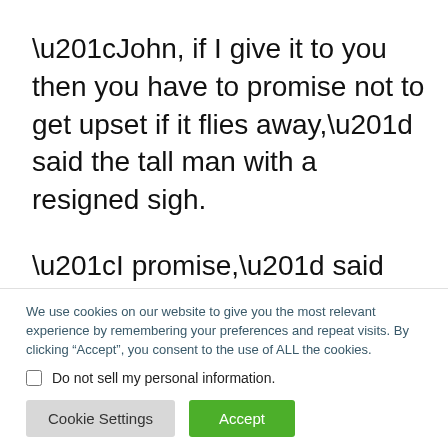“John, if I give it to you then you have to promise not to get upset if it flies away,” said the tall man with a resigned sigh.
“I promise,” said John as he held out his small hand.
We use cookies on our website to give you the most relevant experience by remembering your preferences and repeat visits. By clicking “Accept”, you consent to the use of ALL the cookies.
Do not sell my personal information.